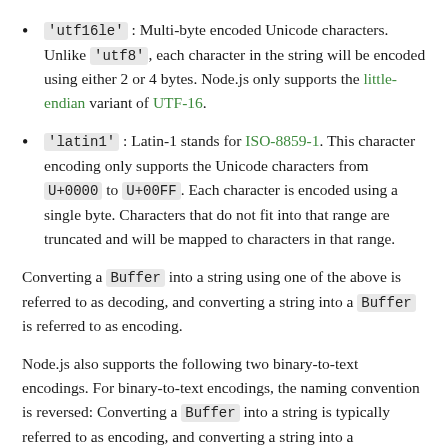'utf16le': Multi-byte encoded Unicode characters. Unlike 'utf8', each character in the string will be encoded using either 2 or 4 bytes. Node.js only supports the little-endian variant of UTF-16.
'latin1': Latin-1 stands for ISO-8859-1. This character encoding only supports the Unicode characters from U+0000 to U+00FF. Each character is encoded using a single byte. Characters that do not fit into that range are truncated and will be mapped to characters in that range.
Converting a Buffer into a string using one of the above is referred to as decoding, and converting a string into a Buffer is referred to as encoding.
Node.js also supports the following two binary-to-text encodings. For binary-to-text encodings, the naming convention is reversed: Converting a Buffer into a string is typically referred to as encoding, and converting a string into a